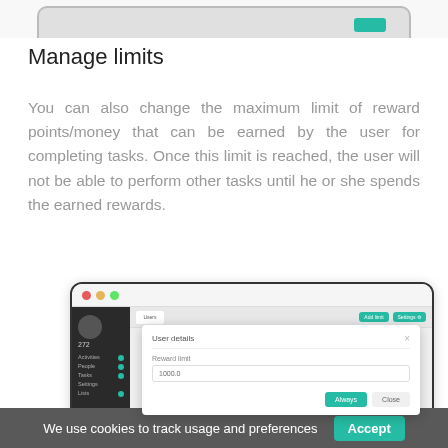[Figure (screenshot): Top portion of a browser/app screenshot, cropped, showing a dark rounded device frame on a light background with a teal badge in the upper right.]
Manage limits
You can also change the maximum limit of reward points/money that can be earned by the user for completing tasks. Once this limit is reached, the user will not be able to perform other tasks until he or she spends the earned rewards.
[Figure (screenshot): Browser window screenshot showing a web app dashboard. A modal dialog titled 'User details' is open with a 'Reward limit' input field showing '1000.0' and two buttons: 'Always' (teal) and 'Close'. The left sidebar shows a dark panel with user avatar and navigation items. The bottom of the browser shows footer tabs.]
We use cookies to track usage and preferences  Accept